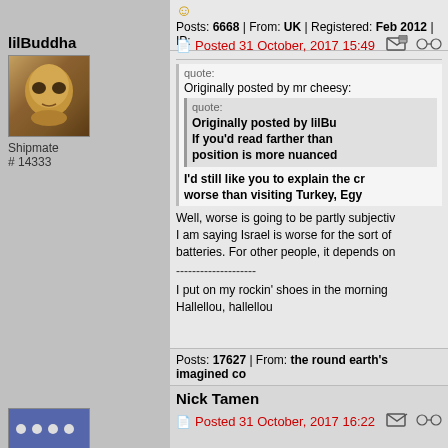Posts: 6668 | From: UK | Registered: Feb 2012 | IP:
lilBuddha
Shipmate
# 14333
Posted 31 October, 2017 15:49
quote:
Originally posted by mr cheesy:
quote:
Originally posted by lilBu
If you'd read farther than
position is more nuanced
I'd still like you to explain the cr
worse than visiting Turkey, Egy
Well, worse is going to be partly subjectiv
I am saying Israel is worse for the sort of
batteries. For other people, it depends on
--------------------
I put on my rockin' shoes in the morning
Hallellou, hallellou
Posts: 17627 | From: the round earth's imagined co
Nick Tamen
Posted 31 October, 2017 16:22